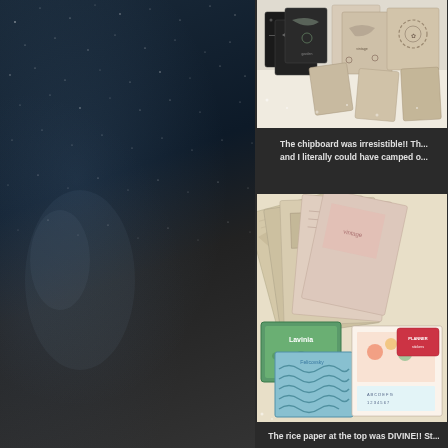[Figure (photo): Left side: dark atmospheric misty background with subtle blue-grey tones, stars/particles, and a faint ethereal figure or smoke effect.]
[Figure (photo): Top right photo: craft supplies including chipboard pieces with floral and decorative designs displayed on a white fluffy surface.]
The chipboard was irresistible!! Th... and I literally could have camped o...
[Figure (photo): Bottom right photo: craft supplies including rice paper sheets with vintage maps and botanical prints, a Lavinia stencil in green, a blue textured paper/stencil, and colorful patterned sticker sheets in plastic packaging.]
The rice paper at the top was DIVINE!! St...